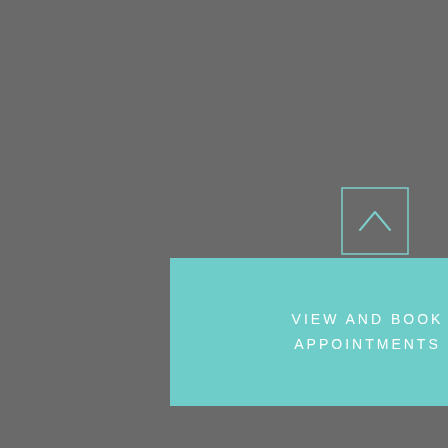SERVICES
FAQS
PRICING
CONTACT US
[Figure (other): Teal outlined square with upward-pointing chevron/arrow icon for scroll-to-top]
VIEW AND BOOK APPOINTMENTS